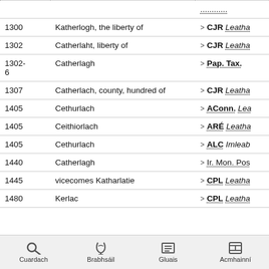| Year | Name | Reference |
| --- | --- | --- |
| 1300 | Katherlogh, the liberty of | > CJR Leatha |
| 1302 | Catherlaht, liberty of | > CJR Leatha |
| 1302-6 | Catherlagh | > Pap. Tax. |
| 1307 | Catherlach, county, hundred of | > CJR Leatha |
| 1405 | Cethurlach | > AConn. Lea |
| 1405 | Ceithiorlach | > ARÉ Leatha |
| 1405 | Cethurlach | > ALC Imleab |
| 1440 | Catherlagh | > Ir. Mon. Pos |
| 1445 | vicecomes Katharlatie | > CPL Leatha |
| 1480 | Kerlac | > CPL Leatha |
Cuardach  Brabhsáil  Gluais  Acmhainní